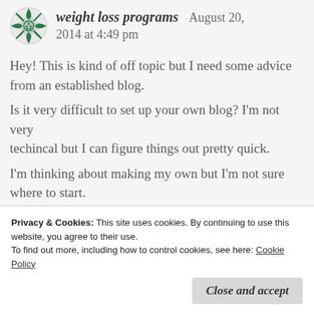weight loss programs  August 20, 2014 at 4:49 pm
Hey! This is kind of off topic but I need some advice from an established blog.
Is it very difficult to set up your own blog? I'm not very techincal but I can figure things out pretty quick.

I'm thinking about making my own but I'm not sure where to start.
Do you have any tips or suggestions? Thanks
Privacy & Cookies: This site uses cookies. By continuing to use this website, you agree to their use.
To find out more, including how to control cookies, see here: Cookie Policy
Close and accept